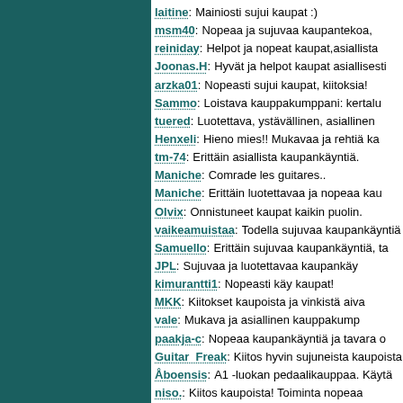laitine: Mainiosti sujui kaupat :)
msm40: Nopeaa ja sujuvaa kaupantekoa,
reiniday: Helpot ja nopeat kaupat,asiallista
Joonas.H: Hyvät ja helpot kaupat asiallisesti
arzka01: Nopeasti sujui kaupat, kiitoksia!
Sammo: Loistava kauppakumppani: kertalu
tuered: Luotettava, ystävällinen, asiallinen
Henxeli: Hieno mies!! Mukavaa ja rehtiä ka
tm-74: Erittäin asiallista kaupankäyntiä.
Maniche: Comrade les guitares..
Maniche: Erittäin luotettavaa ja nopeaa kau
Olvix: Onnistuneet kaupat kaikin puolin.
vaikeamuistaa: Todella sujuvaa kaupankäyntiä ja
Samuello: Erittäin sujuvaa kaupankäyntiä, ta
JPL: Sujuvaa ja luotettavaa kaupankäy
kimurantti1: Nopeasti käy kaupat!
MKK: Kiitokset kaupoista ja vinkistä aiva
vale: Mukava ja asiallinen kauppakump
paakja-c: Nopeaa kaupankäyntiä ja tavara o
Guitar Freak: Kiitos hyvin sujuneista kaupoista.
Åboensis: A1 -luokan pedaalikauppaa. Käytä
niso.: Kiitos kaupoista! Toiminta nopeaa ... linkkejä ostamaani pedaalin liittye
h3nq: Todella sujuvat kaupat, suosittelen
Jiii: Hyvä meininki kaupoissa, sujuvaa